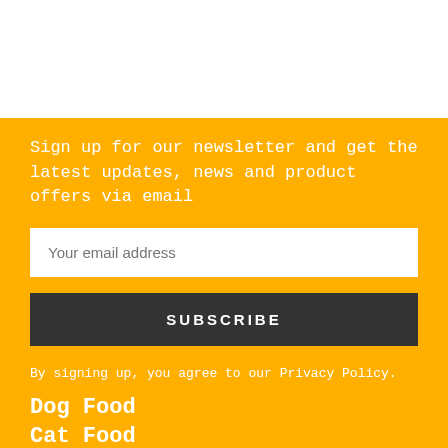Sign up for our newsletter and get the latest updates, news and product offers via email
Your email address
SUBSCRIBE
By signing up, you agree to our Privacy Policy.
Dog Food
Cat Food
Cat Litter
Treats